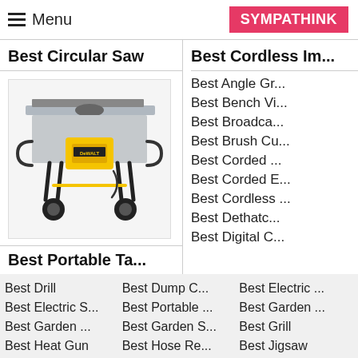Menu | SYMPATHINK
Best Circular Saw
Best Cordless Im...
[Figure (photo): A yellow and black portable table saw on a wheeled stand with folding legs (DeWalt brand).]
Best Portable Ta...
Best Angle Gr...
Best Bench Vi...
Best Broadca...
Best Brush Cu...
Best Corded ...
Best Corded E...
Best Cordless ...
Best Dethatc...
Best Digital C...
Best Drill
Best Dump C...
Best Electric ...
Best Electric S...
Best Portable ...
Best Garden ...
Best Garden ...
Best Garden S...
Best Grill
Best Heat Gun
Best Hose Re...
Best Jigsaw
Best Jointer
Best Lawn Ae...
Best Lawn Ed...